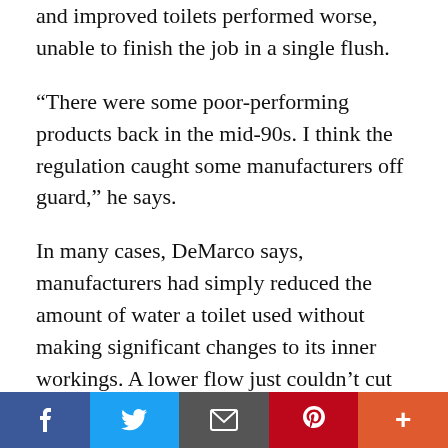and improved toilets performed worse, unable to finish the job in a single flush.
“There were some poor-performing products back in the mid-90s. I think the regulation caught some manufacturers off guard,” he says.
In many cases, DeMarco says, manufacturers had simply reduced the amount of water a toilet used without making significant changes to its inner workings. A lower flow just couldn’t cut it.
The frustrated customers sent toilet-makers back to the drawing board. A new test from a company called Maximum Performance allowed manufacturers to demonstrate that their low-flow
[Figure (other): Social media sharing bar with buttons for Facebook, Twitter, Email, Pinterest, and More]